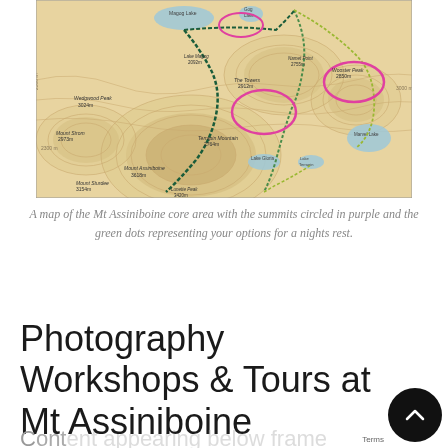[Figure (map): A topographic map of the Mt Assiniboine core area showing mountain peaks labeled with names and elevations (e.g. Mount Assiniboine 3618m, Wedgwood Peak 3024m, Terrapin Mountain 2764m, The Towers 2912m, Wooster Peak 2850m, Namet Point 2755m, Magog Lake, Gog Lake, Marvel Lake, Lake Gloria, Lake Terrapin). Pink/purple circles highlight certain summits. Green dotted lines represent accommodation/rest options. Routes shown with dashed lines.]
A map of the Mt Assiniboine core area with the summits circled in purple and the green dots representing your options for a nights rest.
Photography Workshops & Tours at Mt Assiniboine
Content continuing below frame (partially visible)